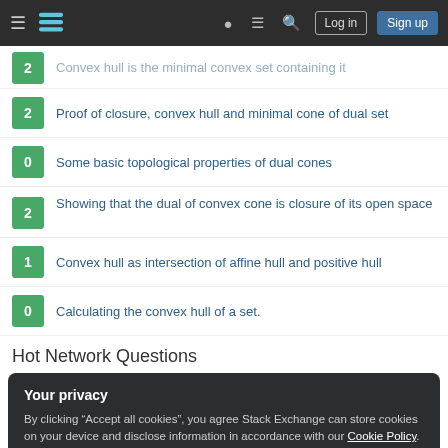Stack Exchange navigation bar with Log in and Sign up buttons
2 — Convex hull is the minimal convex set containing it
2 — Proof of closure, convex hull and minimal cone of dual set
0 — Some basic topological properties of dual cones
2 — Showing that the dual of convex cone is closure of its open space
1 — Convex hull as intersection of affine hull and positive hull
0 — Calculating the convex hull of a set.
Hot Network Questions
Your privacy
By clicking "Accept all cookies", you agree Stack Exchange can store cookies on your device and disclose information in accordance with our Cookie Policy.
Accept all cookies | Customize settings
Can I start a question with a base verb?